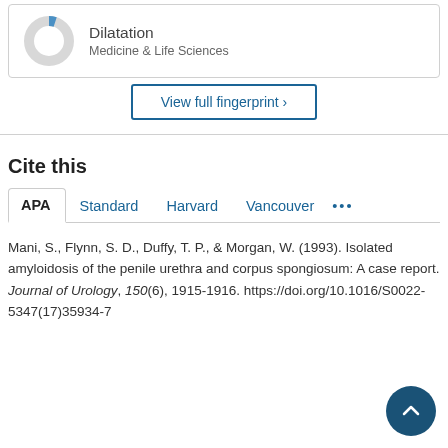[Figure (donut-chart): Partial donut/pie chart showing approximately 30% blue segment, rest grey, representing Dilatation concept]
Dilatation
Medicine & Life Sciences
View full fingerprint >
Cite this
APA  Standard  Harvard  Vancouver  ...
Mani, S., Flynn, S. D., Duffy, T. P., & Morgan, W. (1993). Isolated amyloidosis of the penile urethra and corpus spongiosum: A case report. Journal of Urology, 150(6), 1915-1916. https://doi.org/10.1016/S0022-5347(17)35934-7